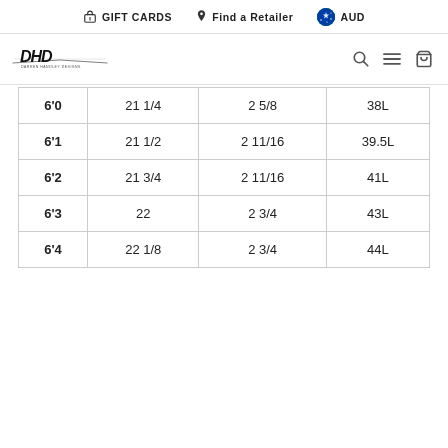GIFT CARDS  Find a Retailer  AUD
[Figure (logo): DHD surfboards logo - bold italic text]
| 6'0 | 21 1/4 | 2 5/8 | 38L |
| 6'1 | 21 1/2 | 2 11/16 | 39.5L |
| 6'2 | 21 3/4 | 2 11/16 | 41L |
| 6'3 | 22 | 2 3/4 | 43L |
| 6'4 | 22 1/8 | 2 3/4 | 44L |